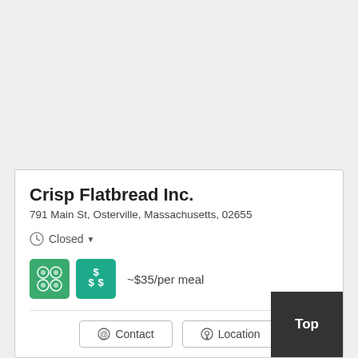Crisp Flatbread Inc.
791 Main St, Osterville, Massachusetts, 02655
Closed
~$35/per meal
Contact
Location
Top